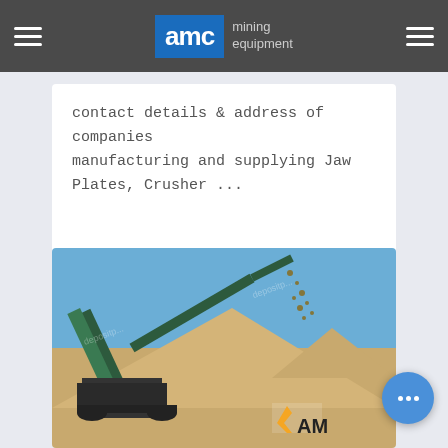AMC mining equipment
contact details & address of companies manufacturing and supplying Jaw Plates, Crusher ...
[Figure (photo): Mining crusher equipment at a quarry site with a conveyor belt depositing crushed stone onto a large pile. AMC logo visible at bottom right. Stock photo watermark visible.]